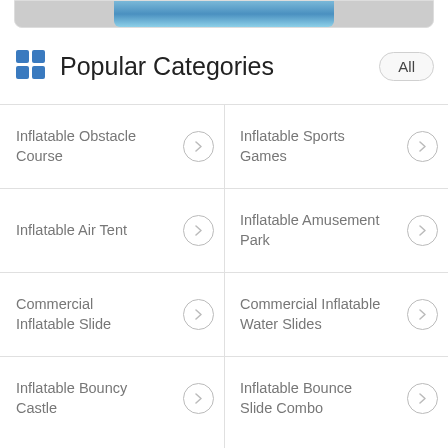[Figure (photo): Partial view of a photo at top, appears to show people in water or inflatable items, blue tones]
Popular Categories
Inflatable Obstacle Course
Inflatable Sports Games
Inflatable Air Tent
Inflatable Amusement Park
Commercial Inflatable Slide
Commercial Inflatable Water Slides
Inflatable Bouncy Castle
Inflatable Bounce Slide Combo